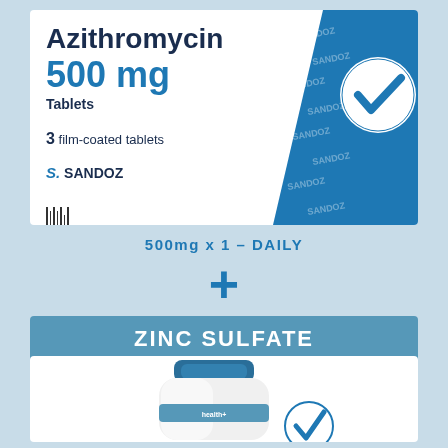[Figure (photo): Azithromycin 500mg Sandoz tablet box packaging with blue geometric design and checkmark, 3 film-coated tablets]
500mg x 1 – DAILY
+
ZINC SULFATE
[Figure (photo): White plastic bottle of Zinc Sulfate supplement with blue cap and label, with a blue checkmark circle partially visible on the right]